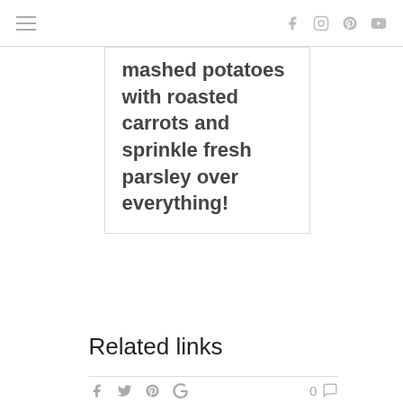navigation and social icons header
mashed potatoes with roasted carrots and sprinkle fresh parsley over everything!
Related links
0 comments and share icons bar